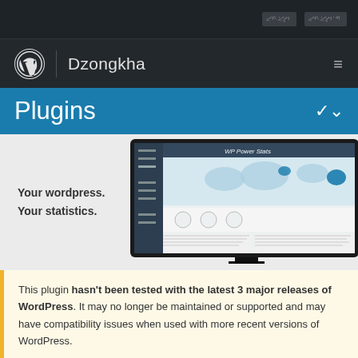[navigation links in Dzongkha script]
Dzongkha
Plugins
[Figure (screenshot): WP Power Stats plugin banner showing a monitor/laptop screen with a dashboard displaying world map statistics and analytics interface]
Your wordpress. Your statistics.
This plugin hasn't been tested with the latest 3 major releases of WordPress. It may no longer be maintained or supported and may have compatibility issues when used with more recent versions of WordPress.